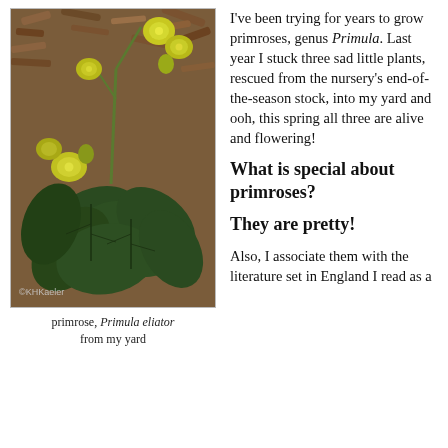[Figure (photo): Close-up photograph of a primrose plant (Primula eliator) with yellow flowers and dark green leaves growing in mulch/soil. Watermark reads ©KHKaeler in lower left corner.]
primrose, Primula eliator from my yard
I've been trying for years to grow primroses, genus Primula. Last year I stuck three sad little plants, rescued from the nursery's end-of-the-season stock, into my yard and ooh, this spring all three are alive and flowering!
What is special about primroses?
They are pretty!
Also, I associate them with the literature set in England I read as a